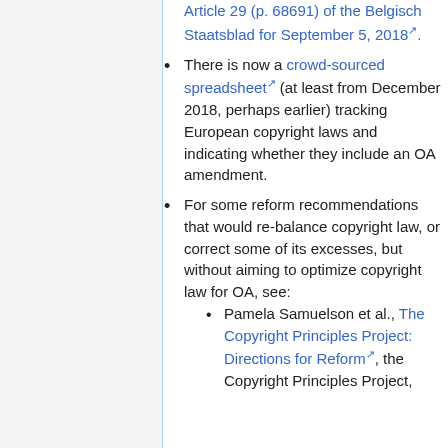Article 29 (p. 68691) of the Belgisch Staatsblad for September 5, 2018.
There is now a crowd-sourced spreadsheet (at least from December 2018, perhaps earlier) tracking European copyright laws and indicating whether they include an OA amendment.
For some reform recommendations that would re-balance copyright law, or correct some of its excesses, but without aiming to optimize copyright law for OA, see:
Pamela Samuelson et al., The Copyright Principles Project: Directions for Reform, the Copyright Principles Project,